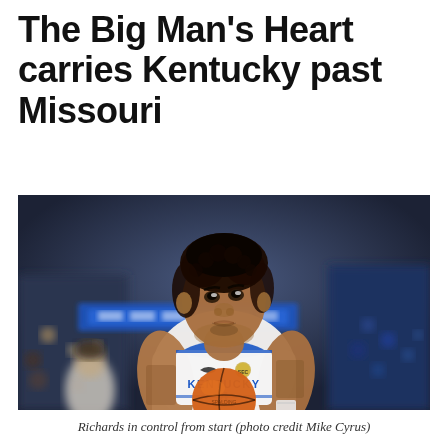The Big Man's Heart carries Kentucky past Missouri
[Figure (photo): A Kentucky Wildcats basketball player wearing jersey number 4 (Nick Richards) in a white Kentucky uniform, holding a basketball at the free throw line. The player has tattoos on both arms and is looking slightly upward. The background shows a blurred arena crowd and a blue scoreboard/banner.]
Richards in control from start (photo credit Mike Cyrus)